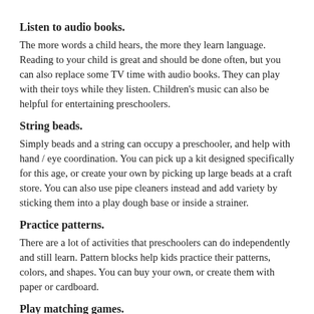Listen to audio books.
The more words a child hears, the more they learn language. Reading to your child is great and should be done often, but you can also replace some TV time with audio books. They can play with their toys while they listen. Children's music can also be helpful for entertaining preschoolers.
String beads.
Simply beads and a string can occupy a preschooler, and help with hand / eye coordination. You can pick up a kit designed specifically for this age, or create your own by picking up large beads at a craft store. You can also use pipe cleaners instead and add variety by sticking them into a play dough base or inside a strainer.
Practice patterns.
There are a lot of activities that preschoolers can do independently and still learn. Pattern blocks help kids practice their patterns, colors, and shapes. You can buy your own, or create them with paper or cardboard.
Play matching games.
Preschoolers can start to learn matching, and games can help. There are several printable matching games that are easy to prepare. Or, you can trace an object on paper, and have them match the object to the tracing.
Break out the "quiet boxes."
Prepare a box of activities that your preschooler can do just while...